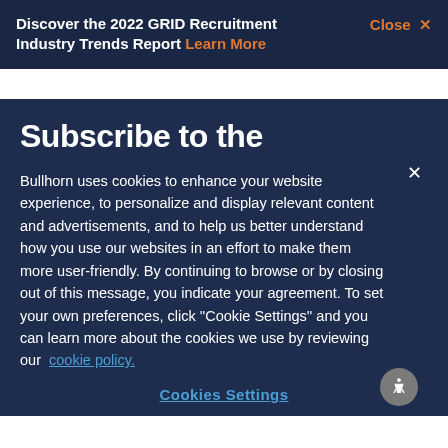Discover the 2022 GRID Recruitment Industry Trends Report Learn More Close ×
Subscribe to the
Bullhorn uses cookies to enhance your website experience, to personalize and display relevant content and advertisements, and to help us better understand how you use our websites in an effort to make them more user-friendly. By continuing to browse or by closing out of this message, you indicate your agreement. To set your own preferences, click ''Cookie Settings'' and you can learn more about the cookies we use by reviewing our cookie policy.
Cookies Settings